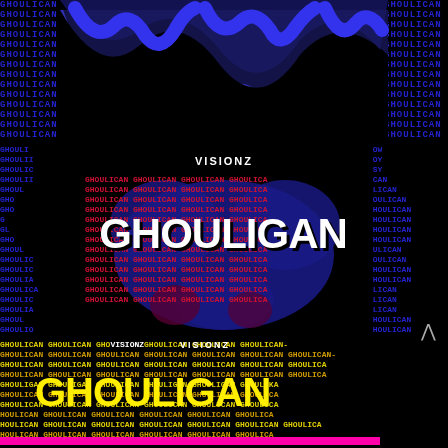[Figure (illustration): Stylized promotional graphic for 'GHOULIGAN' by VISIONZ. Top half: Black background with blue wavy abstract shapes and repeated 'GHOULIGAN' text in blue. Center: Blue shadow creature shape with repeated red 'GHOULIGAN' text overlay and large white bold 'GHOULIGAN' text. Bottom half: Black background with repeated yellow 'GHOULIGAN' text lines and large yellow bold 'GHOULIGAN' text. Magenta bar at bottom. Navigation arrow on right edge.]
VISIONZ
GHOULIGAN
GHOULIGAN